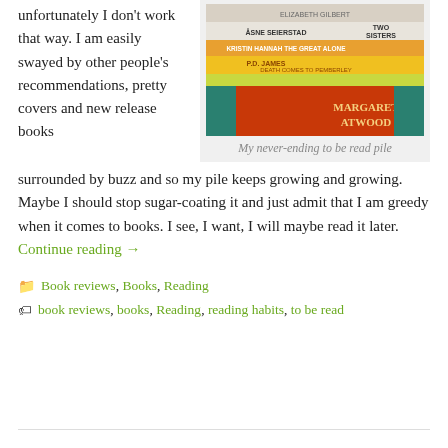unfortunately I don't work that way. I am easily swayed by other people's recommendations, pretty covers and new release books surrounded by buzz and so my pile keeps growing and growing. Maybe I should stop sugar-coating it and just admit that I am greedy when it comes to books. I see, I want, I will maybe read it later. Continue reading →
[Figure (photo): A stack of books photographed from above, including titles by Åsne Seierstad (Two Sisters), Margaret Atwood, P.D. James, and others, stacked on what appears to be a teal surface.]
My never-ending to be read pile
Book reviews, Books, Reading
book reviews, books, Reading, reading habits, to be read